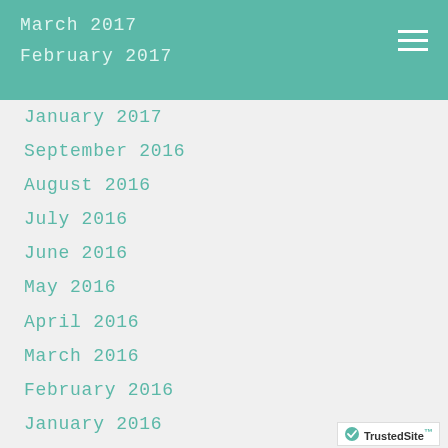March 2017
February 2017
January 2017
September 2016
August 2016
July 2016
June 2016
May 2016
April 2016
March 2016
February 2016
January 2016
Categories
All
Aimee Mullins
Attachment Theory
Brene Brown
Change
Dancing In The Flames
Documentary